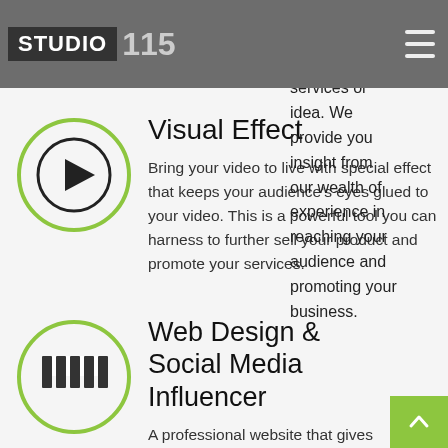STUDIO 115
encourages people to buy their products, services or idea. We provide you insight from our wealth of experience in reaching your audience and promoting your business.
Visual Effect
[Figure (illustration): Green outlined circle with a play button icon inside]
Bring your video to live with special effect that keeps your audience's eyes glued to your video. This is a powerful tool you can harness to further sell your product and promote your services.
Web Design & Social Media Influencer
[Figure (illustration): Green outlined circle with a piano/keyboard bars icon inside]
A professional website that gives you